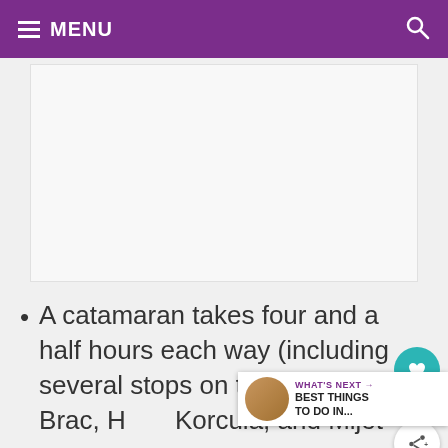MENU
[Figure (photo): White/light grey placeholder image area]
A catamaran takes four and a half hours each way (including several stops on the islands of Brac, Hvar, Korcula, and Mljet en route)